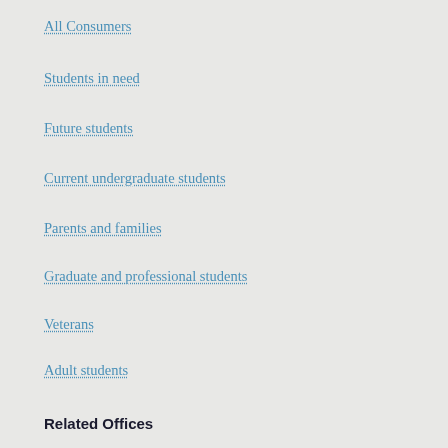All Consumers
Students in need
Future students
Current undergraduate students
Parents and families
Graduate and professional students
Veterans
Adult students
Related Offices
Undergraduate Admissions
Office of the Bursar
University Registrar